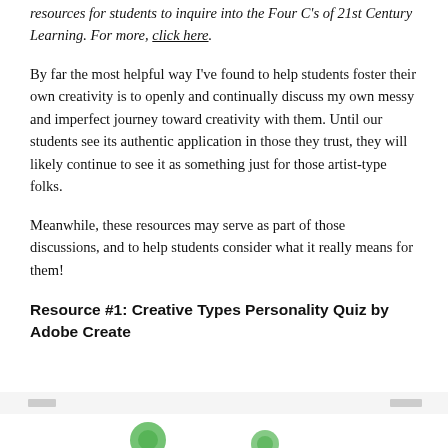resources for students to inquire into the Four C's of 21st Century Learning. For more, click here.
By far the most helpful way I've found to help students foster their own creativity is to openly and continually discuss my own messy and imperfect journey toward creativity with them. Until our students see its authentic application in those they trust, they will likely continue to see it as something just for those artist-type folks.
Meanwhile, these resources may serve as part of those discussions, and to help students consider what it really means for them!
Resource #1: Creative Types Personality Quiz by Adobe Create
[Figure (screenshot): Partial screenshot of the Creative Types Personality Quiz by Adobe Create website, showing navigation bar and top portion of the page with green circular graphic elements.]